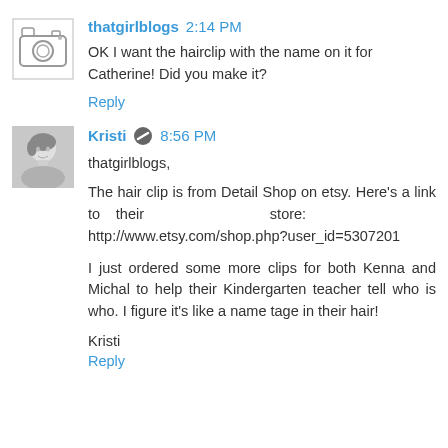[Figure (illustration): Camera/avatar icon for thatgirlblogs user]
thatgirlblogs 2:14 PM
OK I want the hairclip with the name on it for Catherine! Did you make it?
Reply
[Figure (photo): Black and white photo avatar for Kristi]
Kristi 8:56 PM
thatgirlblogs,
The hair clip is from Detail Shop on etsy. Here's a link to their store: http://www.etsy.com/shop.php?user_id=5307201
I just ordered some more clips for both Kenna and Michal to help their Kindergarten teacher tell who is who. I figure it's like a name tage in their hair!
Kristi
Reply